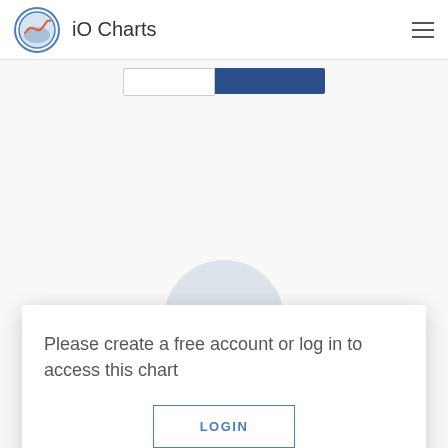iO Charts
[Figure (screenshot): Blurred/obscured chart background with tab bar and semicircle placeholder graphic]
Please create a free account or log in to access this chart
LOGIN